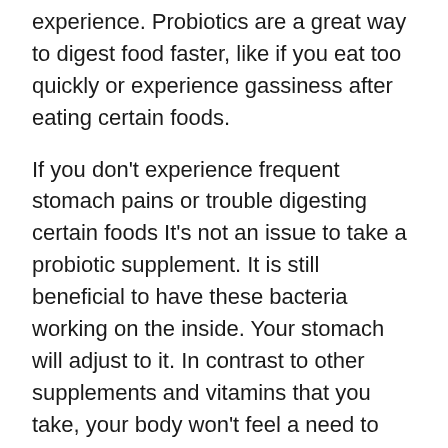experience. Probiotics are a great way to digest food faster, like if you eat too quickly or experience gassiness after eating certain foods.
If you don't experience frequent stomach pains or trouble digesting certain foods It's not an issue to take a probiotic supplement. It is still beneficial to have these bacteria working on the inside. Your stomach will adjust to it. In contrast to other supplements and vitamins that you take, your body won't feel a need to expel probiotics that aren't used. They are instead able to remain in your body to aid in improving your health.
Immunity